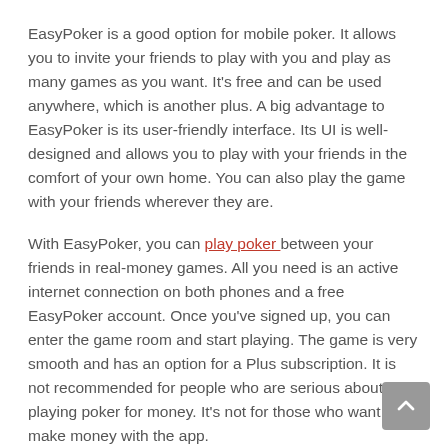EasyPoker is a good option for mobile poker. It allows you to invite your friends to play with you and play as many games as you want. It's free and can be used anywhere, which is another plus. A big advantage to EasyPoker is its user-friendly interface. Its UI is well-designed and allows you to play with your friends in the comfort of your own home. You can also play the game with your friends wherever they are.
With EasyPoker, you can play poker between your friends in real-money games. All you need is an active internet connection on both phones and a free EasyPoker account. Once you've signed up, you can enter the game room and start playing. The game is very smooth and has an option for a Plus subscription. It is not recommended for people who are serious about playing poker for money. It's not for those who want to make money with the app.